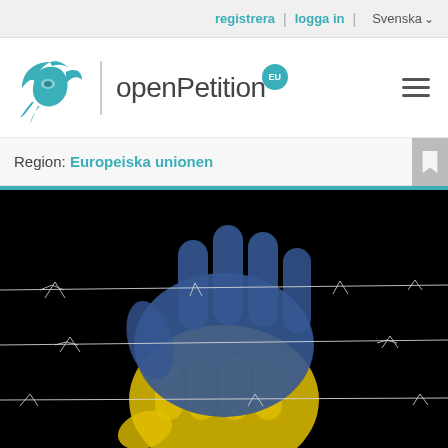registrera | logga in | Svenska
[Figure (logo): openPetition EU logo with teal bird/mask icon, vertical divider, and text 'openPetition' with EU badge, hamburger menu on right]
Region: Europeiska unionen
[Figure (illustration): Black background with a large handprint colored in blue (upper half) and yellow (lower half), representing the Ukrainian flag colors, with barbed wire lines crossing horizontally in white/silver]